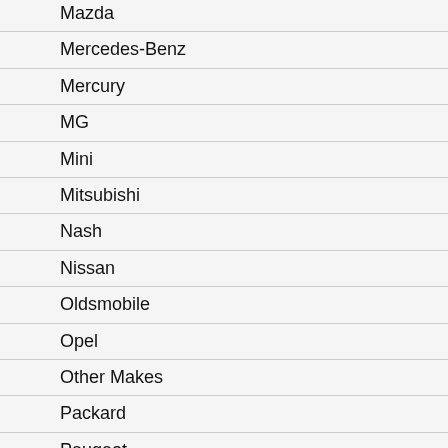Mazda
Mercedes-Benz
Mercury
MG
Mini
Mitsubishi
Nash
Nissan
Oldsmobile
Opel
Other Makes
Packard
Peugeot
Plymouth
Pontiac
Porsche
Renault
Replica and Kit Makes
Rolls-Ro...